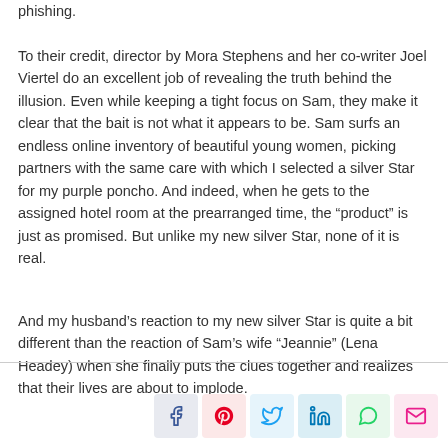phishing. To their credit, director by Mora Stephens and her co-writer Joel Viertel do an excellent job of revealing the truth behind the illusion. Even while keeping a tight focus on Sam, they make it clear that the bait is not what it appears to be. Sam surfs an endless online inventory of beautiful young women, picking partners with the same care with which I selected a silver Star for my purple poncho. And indeed, when he gets to the assigned hotel room at the prearranged time, the “product” is just as promised. But unlike my new silver Star, none of it is real.
And my husband’s reaction to my new silver Star is quite a bit different than the reaction of Sam’s wife “Jeannie” (Lena Headey) when she finally puts the clues together and realizes that their lives are about to implode.